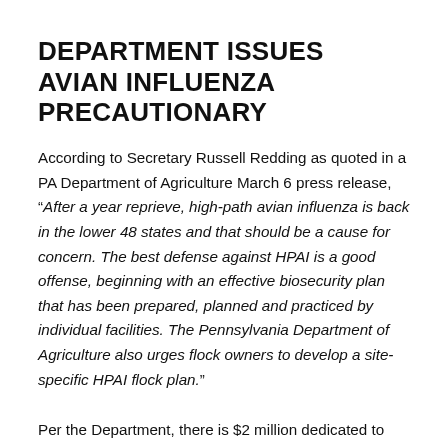DEPARTMENT ISSUES AVIAN INFLUENZA PRECAUTIONARY
According to Secretary Russell Redding as quoted in a PA Department of Agriculture March 6 press release, “After a year reprieve, high-path avian influenza is back in the lower 48 states and that should be a cause for concern. The best defense against HPAI is a good offense, beginning with an effective biosecurity plan that has been prepared, planned and practiced by individual facilities. The Pennsylvania Department of Agriculture also urges flock owners to develop a site-specific HPAI flock plan.”
Per the Department, there is $2 million dedicated to this purpose in addition to the $1.1 million already